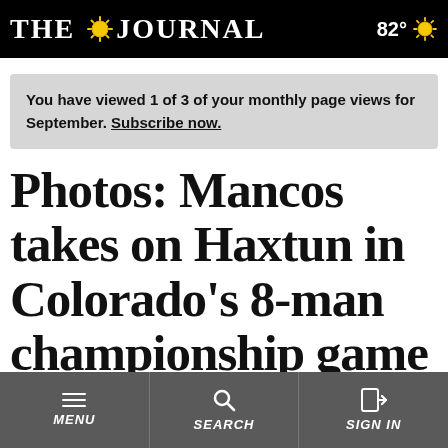THE JOURNAL   82°
You have viewed 1 of 3 of your monthly page views for September. Subscribe now.
Photos: Mancos takes on Haxtun in Colorado's 8-man championship game
[Figure (other): Social sharing icons: Facebook, Twitter, Email]
MENU   SEARCH   SIGN IN